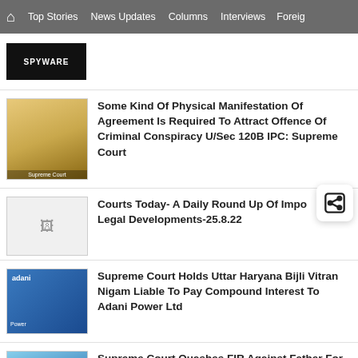Home | Top Stories | News Updates | Columns | Interviews | Foreig...
[Figure (screenshot): SPYWARE thumbnail image - dark background with text]
Some Kind Of Physical Manifestation Of Agreement Is Required To Attract Offence Of Criminal Conspiracy U/Sec 120B IPC: Supreme Court
[Figure (photo): Supreme Court building with legal professionals]
Courts Today- A Daily Round Up Of Important Legal Developments-25.8.22
[Figure (photo): Placeholder image for Courts Today article]
Supreme Court Holds Uttar Haryana Bijli Vitran Nigam Liable To Pay Compound Interest To Adani Power Ltd
[Figure (photo): Adani Power related image with Supreme Court building]
Supreme Court Quashes FIR Against Father For Taking Away Son From Mother's Custody
[Figure (photo): Supreme Court building exterior]